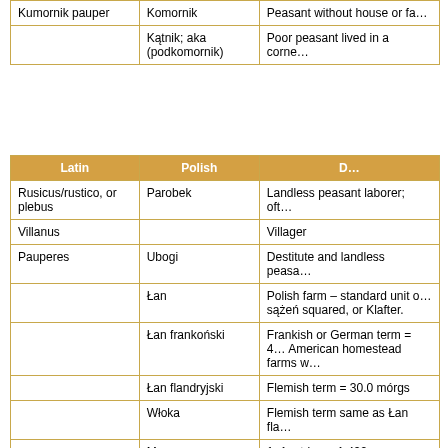|  |  |  |
| --- | --- | --- |
| Kumornik pauper | Komornik | Peasant without house or fa… |
|  | Kątnik; aka (podkomornik) | Poor peasant lived in a corne… |
| Latin | Polish | D… |
| --- | --- | --- |
| Rusicus/rustico, or plebus | Parobek | Landless peasant laborer; oft… |
| Villanus |  | Villager |
| Pauperes | Ubogi | Destitute and landless peasa… |
|  | Łan | Polish farm – standard unit o… sążeń squared, or Klafter. |
|  | Łan frankoński | Frankish or German term = 4… American homestead farms w… |
|  | Łan flandryjski | Flemish term = 30.0 mórgs |
|  | Włoka | Flemish term same as Łan fla… |
|  | Morg or morga | 1. Austrian = 1.422 acres
2. Prussian = 0.631 acres
3. Russian/Poland = 1.388 a…
4. Area about 5,600 sq. me… |